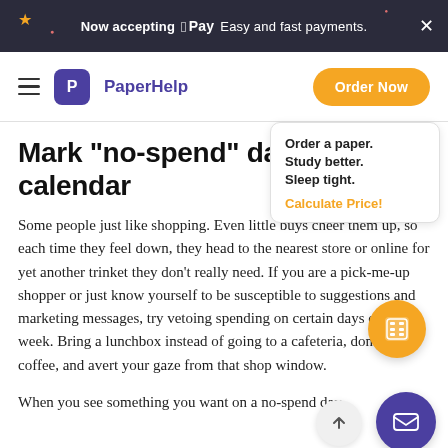Now accepting Apple Pay  Easy and fast payments.
[Figure (logo): PaperHelp navigation bar with hamburger menu, logo icon with 'P', brand name PaperHelp, and orange 'Order Now' button]
Mark "no-spend" days in your calendar
Some people just like shopping. Even little buys cheer them up, so each time they feel down, they head to the nearest store or online for yet another trinket they don't really need. If you are a pick-me-up shopper or just know yourself to be susceptible to suggestions and marketing messages, try vetoing spending on certain days of the week. Bring a lunchbox instead of going to a cafeteria, don't buy coffee, and avert your gaze from that shop window.
When you see something you want on a no-spend day,
[Figure (other): Floating card with text: Order a paper. Study better. Sleep tight. Calculate Price! link in orange]